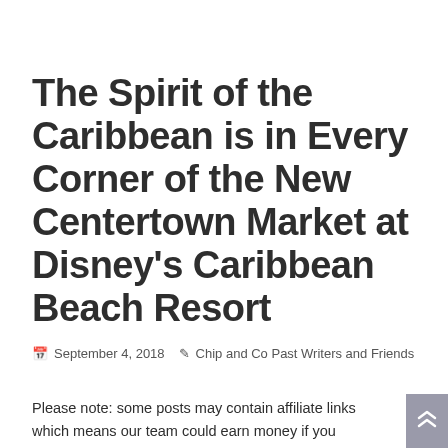The Spirit of the Caribbean is in Every Corner of the New Centertown Market at Disney's Caribbean Beach Resort
September 4, 2018  Chip and Co Past Writers and Friends
Please note: some posts may contain affiliate links which means our team could earn money if you purchase products from our site